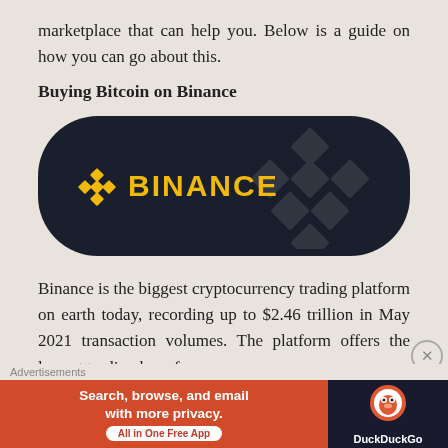marketplace that can help you. Below is a guide on how you can go about this.
Buying Bitcoin on Binance
[Figure (logo): Binance logo on dark rounded rectangle background with Binance diamond logo mark in gold and large faded background logo mark]
Binance is the biggest cryptocurrency trading platform on earth today, recording up to $2.46 trillion in May 2021 transaction volumes. The platform offers the largest trading base for
Advertisements
[Figure (other): DuckDuckGo advertisement: Search, browse, and email with more privacy. All in One Free App]